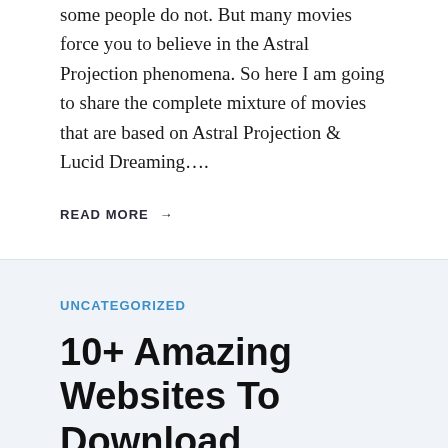some people do not. But many movies force you to believe in the Astral Projection phenomena. So here I am going to share the complete mixture of movies that are based on Astral Projection & Lucid Dreaming….
READ MORE →
UNCATEGORIZED
10+ Amazing Websites To Download Subtitles For Movies, TV Shows